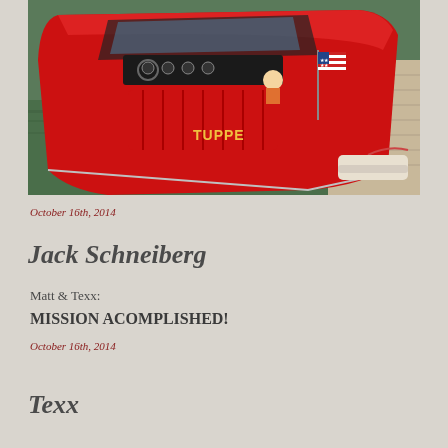[Figure (photo): Aerial/overhead view of a red vintage boat named 'Tupperware' or similar, docked at a pier. A child is seated in the boat. An American flag is mounted on the back. The boat is bright red with chrome details, docked next to a wooden dock on green water.]
October 16th, 2014
Jack Schneiberg
Matt & Texx:
MISSION ACOMPLISHED!
October 16th, 2014
Texx